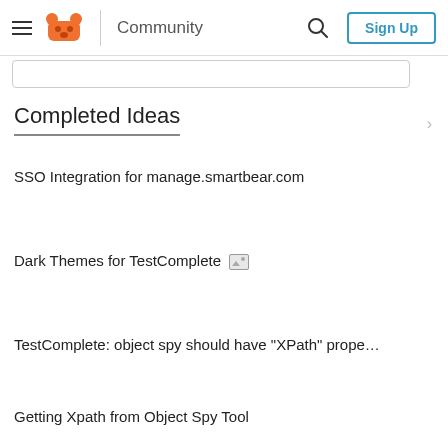Community | Sign Up
Completed Ideas
SSO Integration for manage.smartbear.com
Dark Themes for TestComplete
TestComplete: object spy should have "XPath" prope…
Getting Xpath from Object Spy Tool